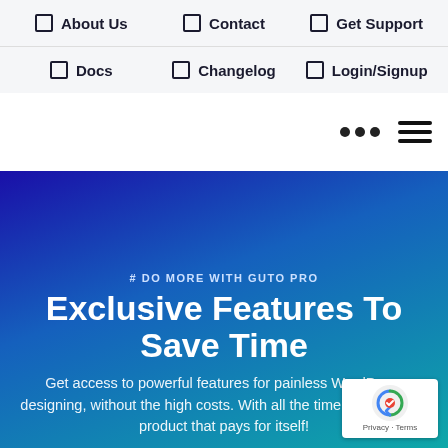About Us | Contact | Get Support | Docs | Changelog | Login/Signup
[Figure (screenshot): Navigation header bar with three dots and hamburger menu icon]
# DO MORE WITH GUTO PRO
Exclusive Features To Save Time
Get access to powerful features for painless WordPress designing, without the high costs. With all the time you w... it's a product that pays for itself!